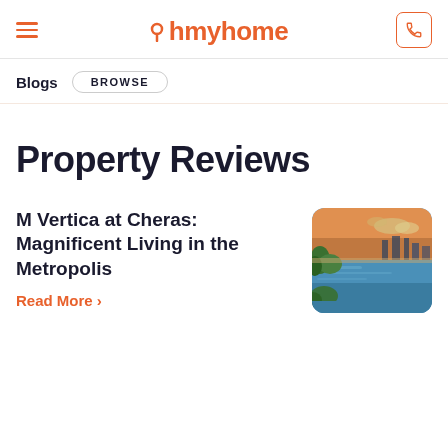ohmyhome
Blogs  BROWSE
Property Reviews
M Vertica at Cheras: Magnificent Living in the Metropolis
Read More ›
[Figure (photo): Rooftop infinity pool with city skyline at dusk, lush greenery on the sides]